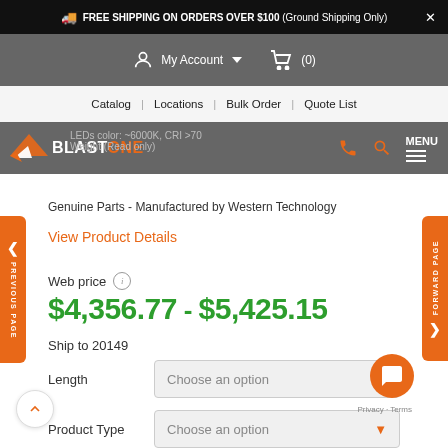FREE SHIPPING ON ORDERS OVER $100 (Ground Shipping Only)
[Figure (screenshot): Navigation bar with My Account dropdown and cart (0) icons on grey background]
Catalog | Locations | Bulk Order | Quote List
[Figure (logo): BlastOne logo with orange triangle and white text on grey header bar with phone, search, and MENU icons]
LEDs color: ~6000K, CRI >70
Weight (Read only)
Genuine Parts - Manufactured by Western Technology
View Product Details
Web price  i
$4,356.77 - $5,425.15
Ship to 20149
Length  Choose an option
Product Type  Choose an option